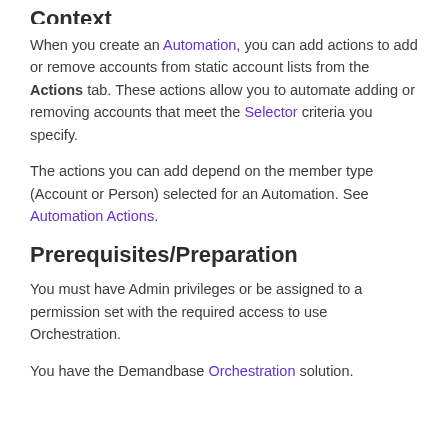Context
When you create an Automation, you can add actions to add or remove accounts from static account lists from the Actions tab. These actions allow you to automate adding or removing accounts that meet the Selector criteria you specify.
The actions you can add depend on the member type (Account or Person) selected for an Automation. See Automation Actions.
Prerequisites/Preparation
You must have Admin privileges or be assigned to a permission set with the required access to use Orchestration.
You have the Demandbase Orchestration solution.